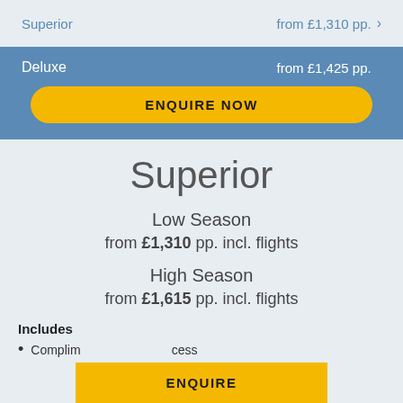Superior    from £1,310 pp.  >
Deluxe    from £1,425 pp.  >
ENQUIRE NOW
Superior
Low Season
from £1,310 pp. incl. flights
High Season
from £1,615 pp. incl. flights
Includes
Complim...  ...cess
ENQUIRE